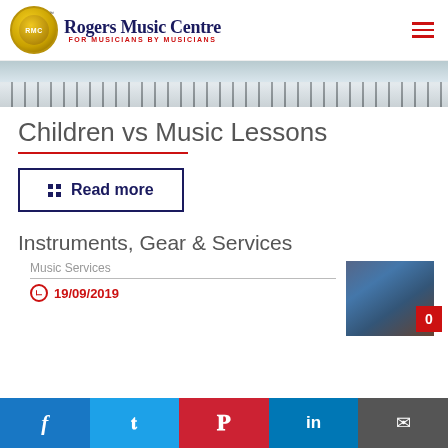Rogers Music Centre — FOR MUSICIANS BY MUSICIANS
[Figure (photo): Hero image showing piano keys with blue-grey tones]
Children vs Music Lessons
Read more
Instruments, Gear & Services
Music Services
19/09/2019
[Figure (photo): Person playing guitar in a music store with guitars displayed on wall]
Social share bar: Facebook, Twitter, Pinterest, LinkedIn, Email